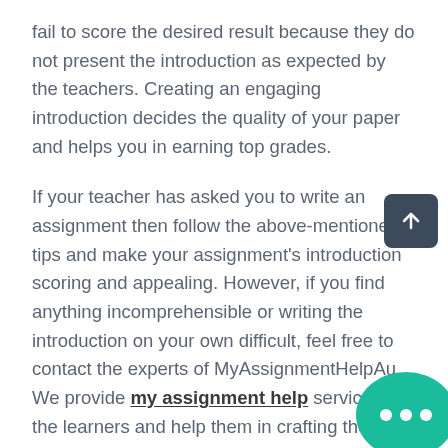fail to score the desired result because they do not present the introduction as expected by the teachers. Creating an engaging introduction decides the quality of your paper and helps you in earning top grades.
If your teacher has asked you to write an assignment then follow the above-mentioned tips and make your assignment's introduction scoring and appealing. However, if you find anything incomprehensible or writing the introduction on your own difficult, feel free to contact the experts of MyAssignmentHelpAu. We provide my assignment help service to the learners and help them in crafting the best quality assignments. Thousands of students have been benefitted by our my assignment help service.